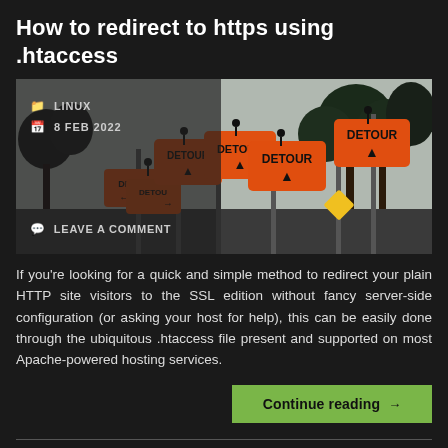How to redirect to https using .htaccess
[Figure (photo): Multiple orange DETOUR road signs on poles against a grey sky with trees, overlaid on left with dark semi-transparent panel showing metadata: LINUX category, date 8 FEB 2022, and LEAVE A COMMENT link]
If you're looking for a quick and simple method to redirect your plain HTTP site visitors to the SSL edition without fancy server-side configuration (or asking your host for help), this can be easily done through the ubiquitous .htaccess file present and supported on most Apache-powered hosting services.
Continue reading →